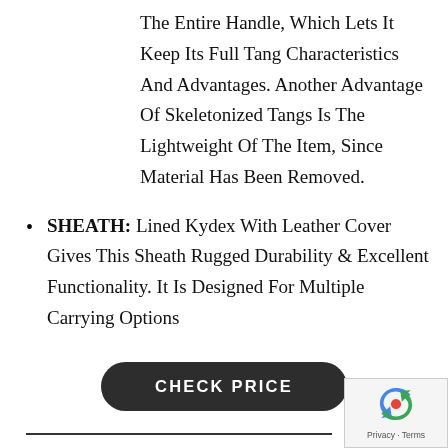The Entire Handle, Which Lets It Keep Its Full Tang Characteristics And Advantages. Another Advantage Of Skeletonized Tangs Is The Lightweight Of The Item, Since Material Has Been Removed.
SHEATH: Lined Kydex With Leather Cover Gives This Sheath Rugged Durability & Excellent Functionality. It Is Designed For Multiple Carrying Options
CHECK PRICE
Draw and Order (A Point & Ship...